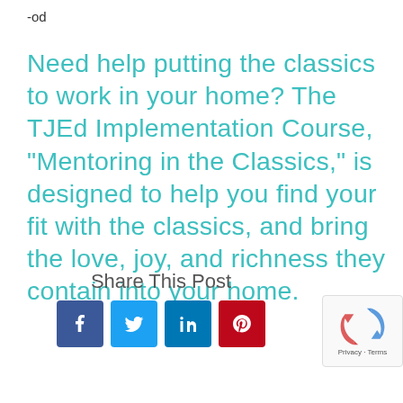-od
Need help putting the classics to work in your home? The TJEd Implementation Course, “Mentoring in the Classics,” is designed to help you find your fit with the classics, and bring the love, joy, and richness they contain into your home.
Share This Post
[Figure (other): Social share buttons: Facebook (blue), Twitter (light blue), LinkedIn (dark blue), Pinterest (red)]
[Figure (other): Google reCAPTCHA badge with spinning arrows logo and Privacy - Terms text]